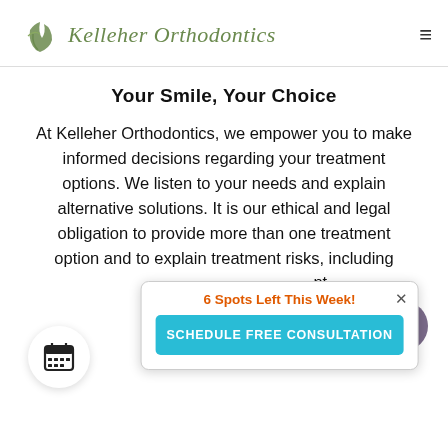[Figure (logo): Kelleher Orthodontics logo with leaf/plant icon in olive green and italic serif text]
Your Smile, Your Choice
At Kelleher Orthodontics, we empower you to make informed decisions regarding your treatment options. We listen to your needs and explain alternative solutions. It is our ethical and legal obligation to provide more than one treatment option and to explain treatment risks, including [partially obscured] nt.
[Figure (screenshot): Popup overlay showing '6 Spots Left This Week!' in orange, a cyan 'SCHEDULE FREE CONSULTATION' button, an X close button, a purple scroll pill, and a calendar icon in a white circle]